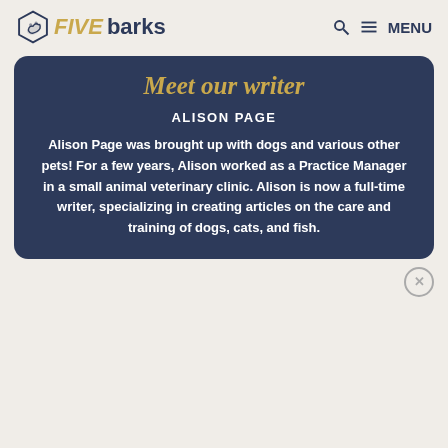FIVEbarks — Q MENU
Meet our writer
ALISON PAGE
Alison Page was brought up with dogs and various other pets! For a few years, Alison worked as a Practice Manager in a small animal veterinary clinic. Alison is now a full-time writer, specializing in creating articles on the care and training of dogs, cats, and fish.